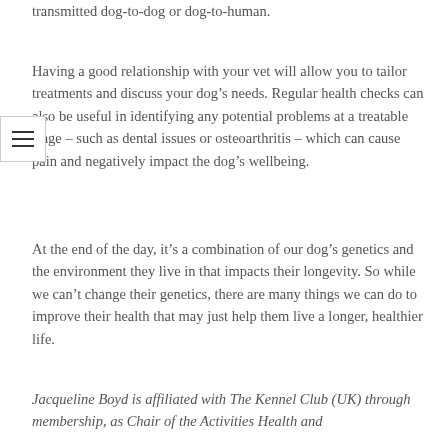transmitted dog-to-dog or dog-to-human.
Having a good relationship with your vet will allow you to tailor treatments and discuss your dog’s needs. Regular health checks can also be useful in identifying any potential problems at a treatable stage – such as dental issues or osteoarthritis – which can cause pain and negatively impact the dog’s wellbeing.
At the end of the day, it’s a combination of our dog’s genetics and the environment they live in that impacts their longevity. So while we can’t change their genetics, there are many things we can do to improve their health that may just help them live a longer, healthier life.
Jacqueline Boyd is affiliated with The Kennel Club (UK) through membership, as Chair of the Activities Health and